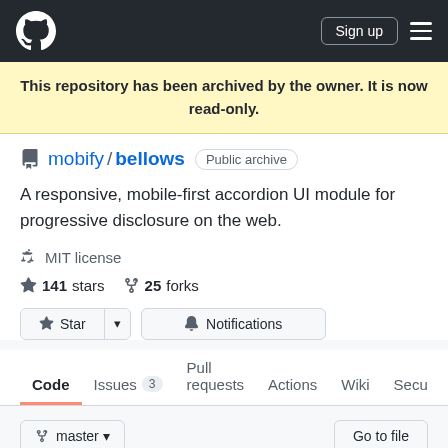GitHub navigation bar with Sign up button
This repository has been archived by the owner. It is now read-only.
mobify / bellows  Public archive
A responsive, mobile-first accordion UI module for progressive disclosure on the web.
MIT license
141 stars   25 forks
Star  Notifications
Code  Issues 3  Pull requests  Actions  Wiki  Secu...
master  Go to file